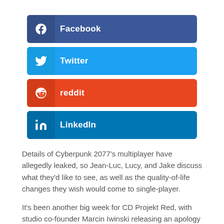[Figure (infographic): Four social media share buttons: Facebook (dark blue), Twitter (light blue), Reddit (orange-red), LinkedIn (blue)]
Details of Cyberpunk 2077's multiplayer have allegedly leaked, so Jean-Luc, Lucy, and Jake discuss what they'd like to see, as well as the quality-of-life changes they wish would come to single-player.
It's been another big week for CD Projekt Red, with studio co-founder Marcin Iwinski releasing an apology for the state the game launched in and a roadmap for its future. But that wasn't the only Cyberpunk 2077...